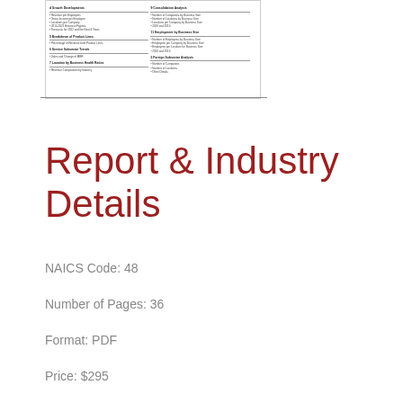[Figure (other): Thumbnail image of a multi-column report table of contents page showing sections on Growth Developments, Breakdown of Product Lines, Service Subsector Trends, Location by Business Health Ratios, Consolidation Analysis, Employment by Businesses Size, and Foreign Subsector Analysis]
Report & Industry Details
NAICS Code: 48
Number of Pages: 36
Format: PDF
Price: $295